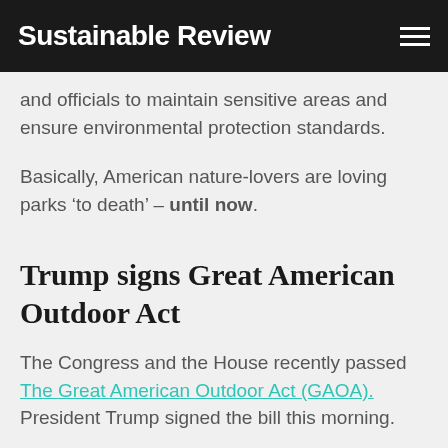Sustainable Review
and officials to maintain sensitive areas and ensure environmental protection standards.
Basically, American nature-lovers are loving parks ‘to death’ – until now.
Trump signs Great American Outdoor Act
The Congress and the House recently passed The Great American Outdoor Act (GAOA). President Trump signed the bill this morning.